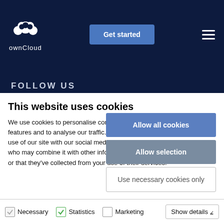[Figure (logo): ownCloud logo with white cloud icon and white text 'ownCloud' on dark navy background]
Get started
FOLLOW US
This website uses cookies
We use cookies to personalise content and ads, to provide social media features and to analyse our traffic. We also share information about your use of our site with our social media, advertising and analytics partners who may combine it with other information that you've provided to them or that they've collected from your use of their services.
Allow all cookies
Allow selection
Use necessary cookies only
Necessary   Statistics   Marketing   Show details